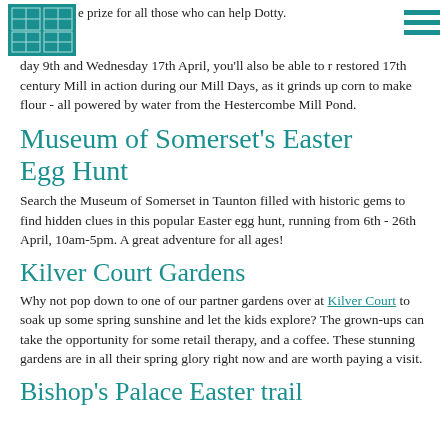[Figure (logo): Hestercombe logo - teal square with geometric pattern]
e prize for all those who can help Dotty.
day 9th and Wednesday 17th April, you'll also be able to r restored 17th century Mill in action during our Mill Days, as it grinds up corn to make flour - all powered by water from the Hestercombe Mill Pond.
Museum of Somerset's Easter Egg Hunt
Search the Museum of Somerset in Taunton filled with historic gems to find hidden clues in this popular Easter egg hunt, running from 6th - 26th April, 10am-5pm. A great adventure for all ages!
Kilver Court Gardens
Why not pop down to one of our partner gardens over at Kilver Court to soak up some spring sunshine and let the kids explore? The grown-ups can take the opportunity for some retail therapy, and a coffee. These stunning gardens are in all their spring glory right now and are worth paying a visit.
Bishop's Palace Easter trail